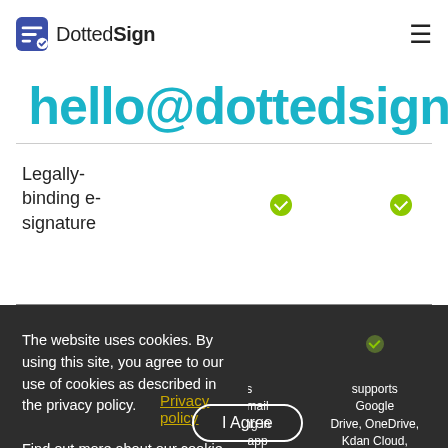DottedSign
hello@dottedsign
Legally-binding e-signature
Self-signing
Imports documents
The website uses cookies. By using this site, you agree to our use of cookies as described in the privacy policy. Find out more about our cookie policy.
Privacy policy
I Agree
Supports Dropbox, email and scanning in the app
Supports Google Drive, OneDrive, Kdan Cloud, email, photo, and scanning in the app